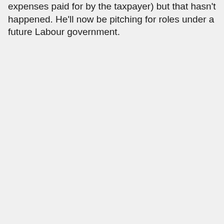expenses paid for by the taxpayer) but that hasn't happened. He'll now be pitching for roles under a future Labour government.